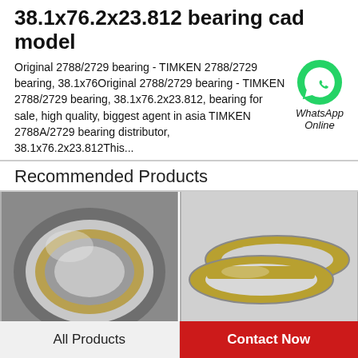38.1x76.2x23.812 bearing cad model
Original 2788/2729 bearing - TIMKEN 2788/2729 bearing, 38.1x76Original 2788/2729 bearing - TIMKEN 2788/2729 bearing, 38.1x76.2x23.812, bearing for sale, high quality, biggest agent in asia TIMKEN 2788A/2729 bearing distributor, 38.1x76.2x23.812This...
Recommended Products
[Figure (illustration): WhatsApp Online chat icon with green speech bubble phone logo]
[Figure (photo): Close-up photo of a tapered roller bearing showing metallic outer ring and brass/gold cage]
[Figure (photo): Close-up photo of two tapered roller bearing rings showing ribbed cage structure on white background]
All Products
Contact Now